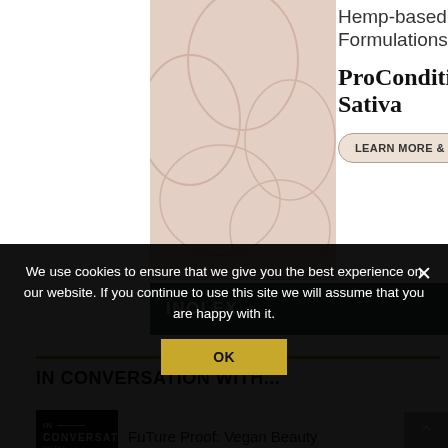[Figure (illustration): Hemp-based product advertisement showing a pink/beige botanical illustration background on the left, with product name text on the right: Hemp-based Formulations, ProCondition Sativa, with a Learn More & Sample button, and INOLEX brand bar at bottom.]
Hemp-based Formulations
ProCondition™ Sativa
LEARN MORE & SAMPLE →
INOLEX
IN CONVERSATION WITH...
FuTure Proof: Vegan Beauty
We use cookies to ensure that we give you the best experience on our website. If you continue to use this site we will assume that you are happy with it.
OK